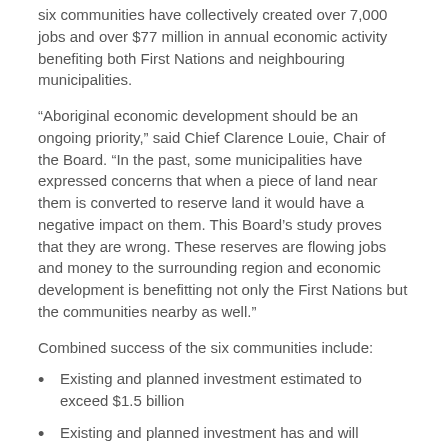six communities have collectively created over 7,000 jobs and over $77 million in annual economic activity benefiting both First Nations and neighbouring municipalities.
“Aboriginal economic development should be an ongoing priority,” said Chief Clarence Louie, Chair of the Board. “In the past, some municipalities have expressed concerns that when a piece of land near them is converted to reserve land it would have a negative impact on them. This Board’s study proves that they are wrong. These reserves are flowing jobs and money to the surrounding region and economic development is benefitting not only the First Nations but the communities nearby as well.”
Combined success of the six communities include:
Existing and planned investment estimated to exceed $1.5 billion
Existing and planned investment has and will generate approximately 2,700 ongoing jobs held by reserve residents and approximately 4,400 ongoing jobs held by